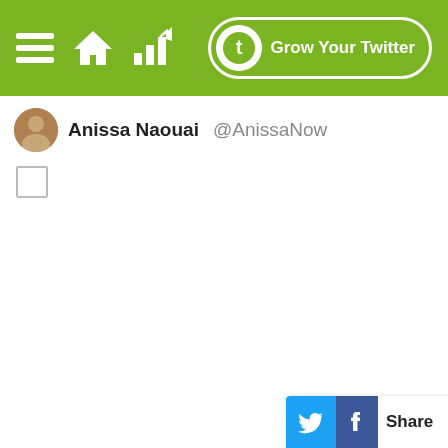Grow Your Twitter
Anissa Naouai @AnissaNow
[Figure (screenshot): Empty checkbox below user row]
[Figure (screenshot): Share button with Twitter and Facebook icons at bottom right]